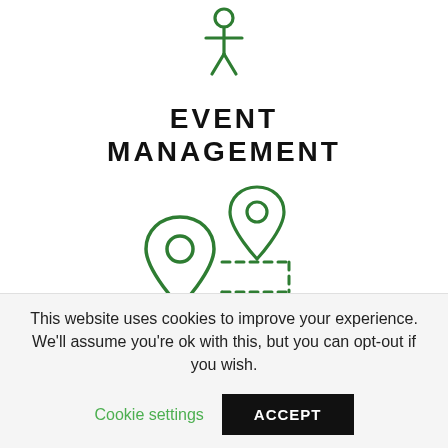[Figure (illustration): Green outline icon of a person (event/people icon) at the top of the page]
EVENT MANAGEMENT
[Figure (illustration): Green outline illustration of two map location pins with a dashed winding route path between them]
This website uses cookies to improve your experience. We'll assume you're ok with this, but you can opt-out if you wish.
Cookie settings  ACCEPT